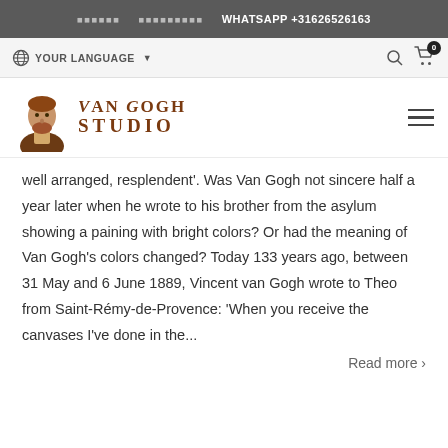WHATSAPP +31626526163
YOUR LANGUAGE
[Figure (logo): Van Gogh Studio logo with portrait illustration and text 'VAN GOGH STUDIO' in brown serif font]
well arranged, resplendent'. Was Van Gogh not sincere half a year later when he wrote to his brother from the asylum showing a paining with bright colors? Or had the meaning of Van Gogh's colors changed? Today 133 years ago, between 31 May and 6 June 1889, Vincent van Gogh wrote to Theo from Saint-Rémy-de-Provence: 'When you receive the canvases I've done in the...
Read more >